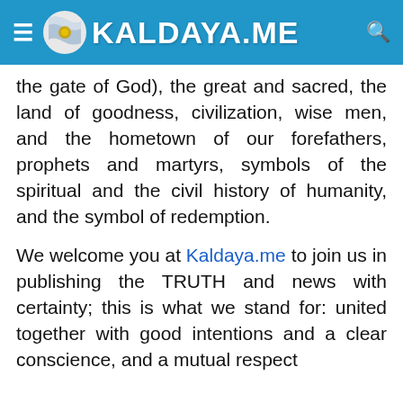KALDAYA.ME
the gate of God), the great and sacred, the land of goodness, civilization, wise men, and the hometown of our forefathers, prophets and martyrs, symbols of the spiritual and the civil history of humanity, and the symbol of redemption.
We welcome you at Kaldaya.me to join us in publishing the TRUTH and news with certainty; this is what we stand for: united together with good intentions and a clear conscience, and a mutual respect